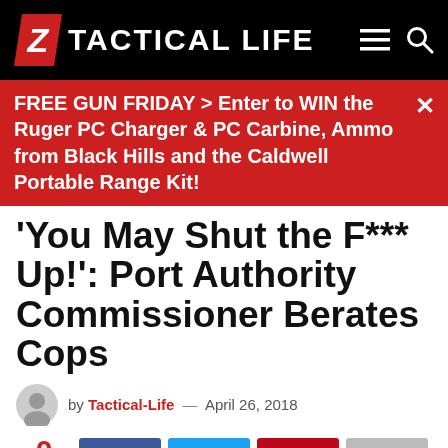TACTICAL LIFE
FREE GUN FRIDAY > Enter to WIN the Ruger PC Charger & PC Carbine, Ammo from Black Hills and the Caldwell Portable Range Kit!
'You May Shut the F*** Up!': Port Authority Commissioner Berates Cops
by Tactical-Life — April 26, 2018
0 SHARES
https://www.youtube.com/watch?v=1xiwZ1I0WBY